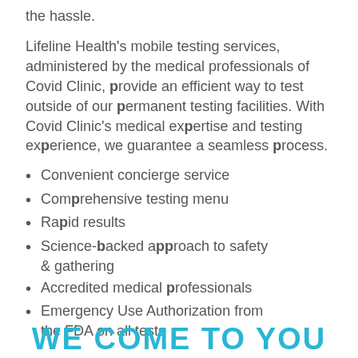the hassle.
Lifeline Health's mobile testing services, administered by the medical professionals of Covid Clinic, provide an efficient way to test outside of our permanent testing facilities. With Covid Clinic's medical expertise and testing experience, we guarantee a seamless process.
Convenient concierge service
Comprehensive testing menu
Rapid results
Science-backed approach to safety & gathering
Accredited medical professionals
Emergency Use Authorization from the FDA on all tests
WE COME TO YOU